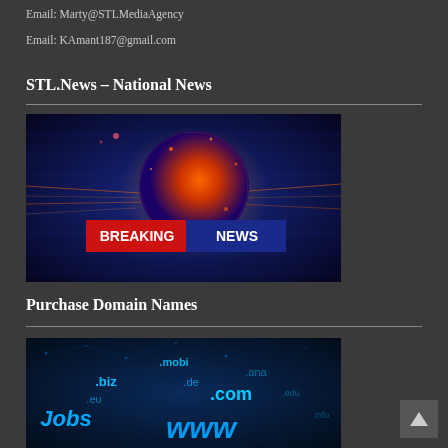Email: Marty@STLMediaAgency
Email: KAmant187@gmail.com
STL.News – National News
[Figure (photo): Breaking News graphic with glowing digital globe and 'BREAKING NEWS' text banner on dark blue background]
Purchase Domain Names
[Figure (photo): Dark blue digital background showing various domain name extensions: .biz, .mobi, .de, .eu, .com, .jobs, www, and others in glowing cyan/blue text]